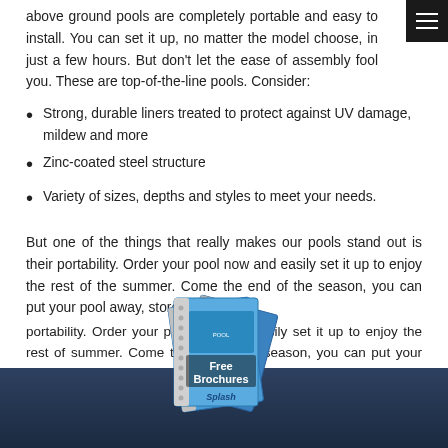above ground pools are completely portable and easy to install. You can set it up, no matter the model choose, in just a few hours. But don't let the ease of assembly fool you. These are top-of-the-line pools. Consider:
Strong, durable liners treated to protect against UV damage, mildew and more
Zinc-coated steel structure
Variety of sizes, depths and styles to meet your needs.
But one of the things that really makes our pools stand out is their portability. Order your pool now and easily set it up to enjoy the rest of summer. Come the end of the season, you can put your pool away, store
[Figure (illustration): Stack of spiral-bound brochures with 'Free Brochures' text overlay, branded with 'Splash' logo]